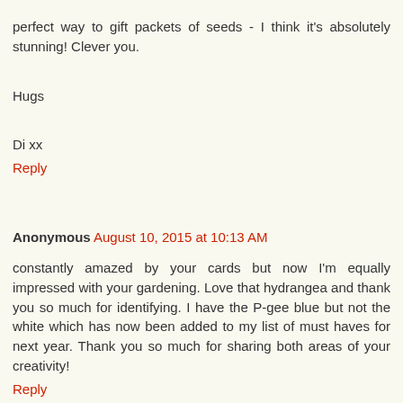perfect way to gift packets of seeds - I think it's absolutely stunning! Clever you.
Hugs
Di xx
Reply
Anonymous August 10, 2015 at 10:13 AM
constantly amazed by your cards but now I'm equally impressed with your gardening. Love that hydrangea and thank you so much for identifying. I have the P-gee blue but not the white which has now been added to my list of must haves for next year. Thank you so much for sharing both areas of your creativity!
Reply
Leslie Miller August 10, 2015 at 11:06 PM
You are just way too clever and creative! Soooooo pretty